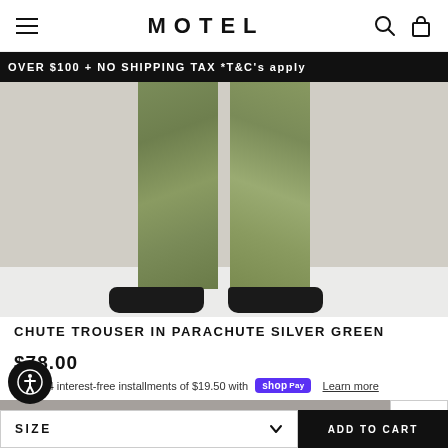MOTEL
OVER $100 + NO SHIPPING TAX *T&C's apply
[Figure (photo): Lower half of a model wearing wide-leg olive green parachute trousers with black chunky sandals, on a light grey/white background.]
CHUTE TROUSER IN PARACHUTE SILVER GREEN
$78.00
Pay in 4 interest-free installments of $19.50 with Shop Pay  Learn more
This website uses cookies to ensure you get the best experience on our website. Learn more
Got it!
SIZE
ADD TO CART